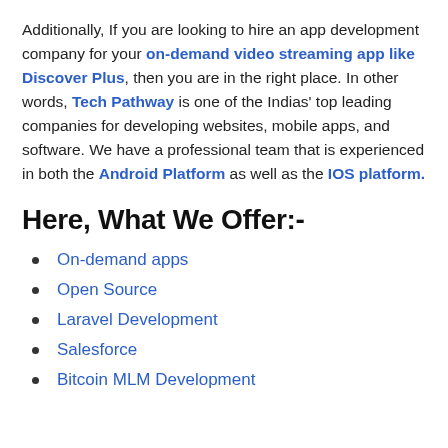Additionally, If you are looking to hire an app development company for your on-demand video streaming app like Discover Plus, then you are in the right place. In other words, Tech Pathway is one of the Indias' top leading companies for developing websites, mobile apps, and software. We have a professional team that is experienced in both the Android Platform as well as the IOS platform.
Here, What We Offer:-
On-demand apps
Open Source
Laravel Development
Salesforce
Bitcoin MLM Development